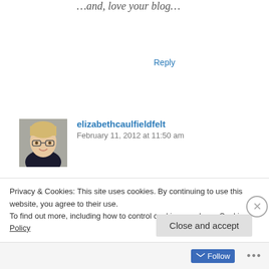…and, love your blog…
Reply
[Figure (photo): Profile photo of a woman with short blonde hair and glasses, smiling, wearing a dark top.]
elizabethcaulfieldfelt
February 11, 2012 at 11:50 am
Thank you so much, Kathy and Laura. Hollywood! Laura, I'll have to give you a copy that you can give to your son. I
Privacy & Cookies: This site uses cookies. By continuing to use this website, you agree to their use.
To find out more, including how to control cookies, see here: Cookie Policy
Close and accept
Follow